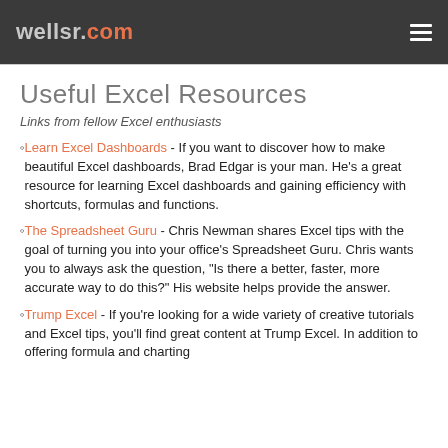wellsr.com
Useful Excel Resources
Links from fellow Excel enthusiasts
Learn Excel Dashboards - If you want to discover how to make beautiful Excel dashboards, Brad Edgar is your man. He's a great resource for learning Excel dashboards and gaining efficiency with shortcuts, formulas and functions.
The Spreadsheet Guru - Chris Newman shares Excel tips with the goal of turning you into your office's Spreadsheet Guru. Chris wants you to always ask the question, "Is there a better, faster, more accurate way to do this?" His website helps provide the answer.
Trump Excel - If you're looking for a wide variety of creative tutorials and Excel tips, you'll find great content at Trump Excel. In addition to offering formula and charting